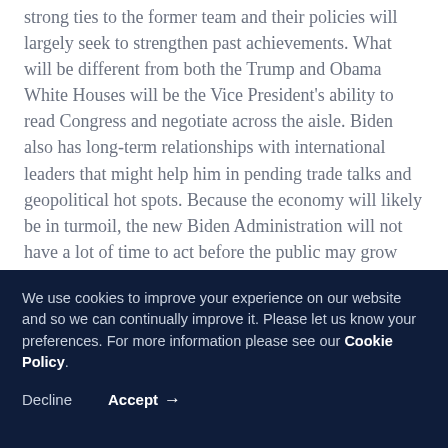strong ties to the former team and their policies will largely seek to strengthen past achievements. What will be different from both the Trump and Obama White Houses will be the Vice President's ability to read Congress and negotiate across the aisle. Biden also has long-term relationships with international leaders that might help him in pending trade talks and geopolitical hot spots. Because the economy will likely be in turmoil, the new Biden Administration will not have a lot of time to act before the public may grow more tiresome of Washington's inability to get things done.
We use cookies to improve your experience on our website and so we can continually improve it. Please let us know your preferences. For more information please see our Cookie Policy.
Decline   Accept →